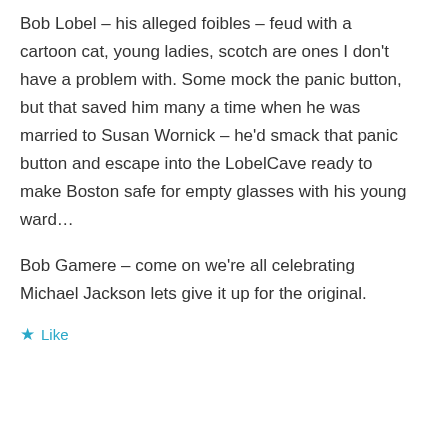Bob Lobel – his alleged foibles – feud with a cartoon cat, young ladies, scotch are ones I don't have a problem with. Some mock the panic button, but that saved him many a time when he was married to Susan Wornick – he'd smack that panic button and escape into the LobelCave ready to make Boston safe for empty glasses with his young ward…
Bob Gamere – come on we're all celebrating Michael Jackson lets give it up for the original.
★ Like